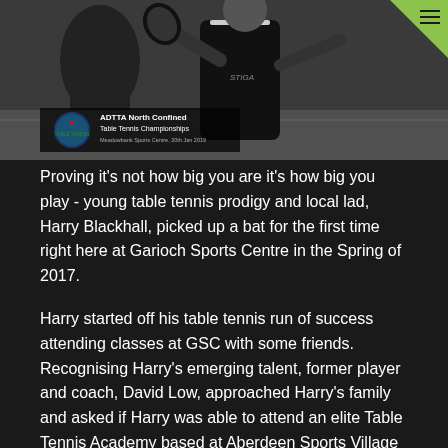[Figure (photo): Black and white photo of a young table tennis player holding a bat, with an ADTTA North Confined Table Tennis Championships logo/overlay in the bottom left corner. Background shows a sports hall.]
Proving it's not how big you are it's how big you play - young table tennis prodigy and local lad, Harry Blackhall, picked up a bat for the first time right here at Garioch Sports Centre in the Spring of 2017.
Harry started off his table tennis run of success attending classes at GSC with some friends. Recognising Harry's emerging talent, former player and coach, David Low, approached Harry's family and asked if Harry was able to attend an elite Table Tennis Academy based at Aberdeen Sports Village (ASV).
Harry continued to develop his talent when an extra